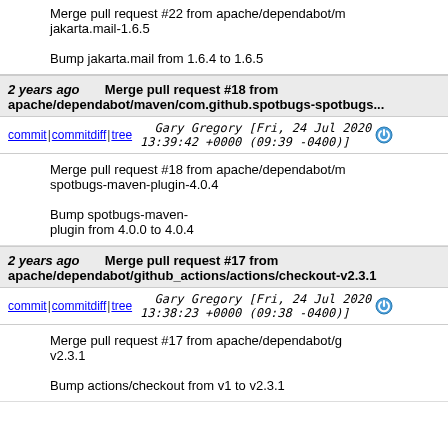Merge pull request #22 from apache/dependabot/... jakarta.mail-1.6.5

Bump jakarta.mail from 1.6.4 to 1.6.5
2 years ago   Merge pull request #18 from apache/dependabot/maven/com.github.spotbugs-spotbugs...
commit | commitdiff | tree   Gary Gregory [Fri, 24 Jul 2020 13:39:42 +0000 (09:39 -0400)]
Merge pull request #18 from apache/dependabot/... spotbugs-maven-plugin-4.0.4

Bump spotbugs-maven-plugin from 4.0.0 to 4.0.4
2 years ago   Merge pull request #17 from apache/dependabot/github_actions/actions/checkout-v2.3.1
commit | commitdiff | tree   Gary Gregory [Fri, 24 Jul 2020 13:38:23 +0000 (09:38 -0400)]
Merge pull request #17 from apache/dependabot/... v2.3.1

Bump actions/checkout from v1 to v2.3.1